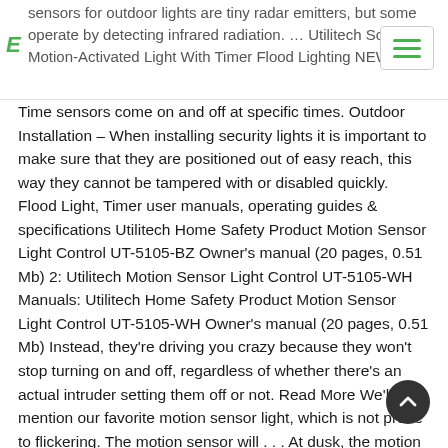sensors for outdoor lights are tiny radar emitters, but some operate by detecting infrared radiation. … Utilitech Solar Motion-Activated Light With Timer Flood Lighting NEW.
Time sensors come on and off at specific times. Outdoor Installation – When installing security lights it is important to make sure that they are positioned out of easy reach, this way they cannot be tampered with or disabled quickly. Flood Light, Timer user manuals, operating guides & specifications Utilitech Home Safety Product Motion Sensor Light Control UT-5105-BZ Owner's manual (20 pages, 0.51 Mb) 2: Utilitech Motion Sensor Light Control UT-5105-WH Manuals: Utilitech Home Safety Product Motion Sensor Light Control UT-5105-WH Owner's manual (20 pages, 0.51 Mb) Instead, they're driving you crazy because they won't stop turning on and off, regardless of whether there's an actual intruder setting them off or not. Read More We'll also mention our favorite motion sensor light, which is not prone to flickering. The motion sensor will . . . At dusk, the motion sensor becomes active. This is also useful as it enables you to see your key